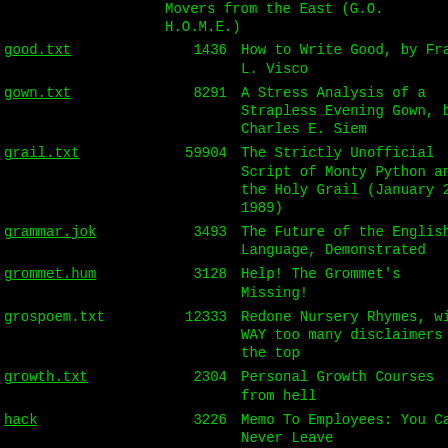| Filename | Size | Description |
| --- | --- | --- |
|  |  | Movers from the East (G.O.H.O.M.E.) |
| good.txt | 1436 | How to Write Good, by Frank L. Visco |
| gown.txt | 8291 | A Stress Analysis of a Strapless Evening Gown, by Charles E. Siem |
| grail.txt | 59904 | The Strictly Unofficial Script of Monty Python and the Holy Grail (January 25, 1989) |
| grammar.jok | 3493 | The Future of the English Language, Demonstrated |
| grommet.hum | 3128 | Help! The Grommet's Missing! |
| grospoem.txt | 12333 | Redone Nursery Rhymes, with WAY too many disclaimers at the top |
| growth.txt | 2304 | Personal Growth Courses from hell |
| hack | 3226 | Memo To Employees: You Can Never Leave |
| hacktest.txt | 20467 | The Hacker Test (Version 1.0) by Felix Lee, John Hayes and Angela Thomas (June 16, 1989) |
| harmful.hum | 3642 | Dirty Air |
| hate.hum | 3741 | I HATE EVERYTHING |